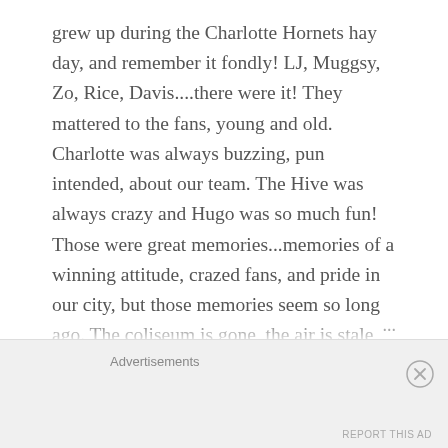grew up during the Charlotte Hornets hay day, and remember it fondly! LJ, Muggsy, Zo, Rice, Davis....there were it! They mattered to the fans, young and old. Charlotte was always buzzing, pun intended, about our team. The Hive was always crazy and Hugo was so much fun! Those were great memories...memories of a winning attitude, crazed fans, and pride in our city, but those memories seem so long ago. The coliseum is gone, the air is stale, and the fans are detached. So, where do we go from here? Easy, Bring Back the Buzz! The former ownership left a terrible taste in our mouths, but we have new ownership and a huge opportunity to get the change Charlotte NBA fans
Advertisements
REPORT THIS AD